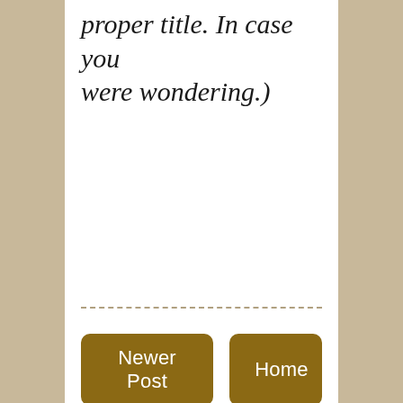proper title. In case you were wondering.)
----------------------------------------
Newer Post
Home
Older Post